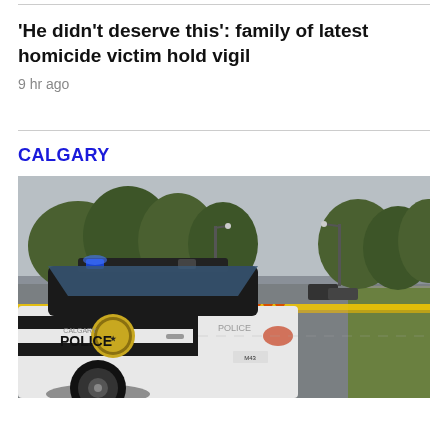'He didn't deserve this': family of latest homicide victim hold vigil
9 hr ago
CALGARY
[Figure (photo): A Calgary Police Services patrol car parked at a crime scene with yellow police tape across a road. Trees line the street in the background on an overcast day.]